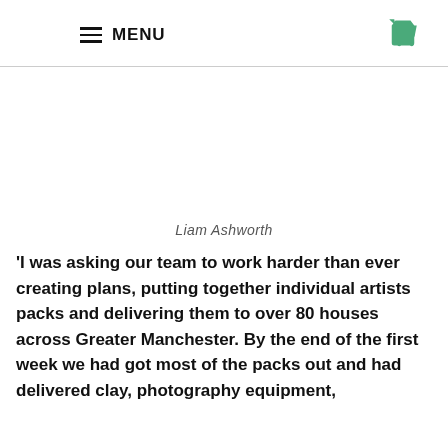MENU
Liam Ashworth
'I was asking our team to work harder than ever creating plans, putting together individual artists packs and delivering them to over 80 houses across Greater Manchester. By the end of the first week we had got most of the packs out and had delivered clay, photography equipment,